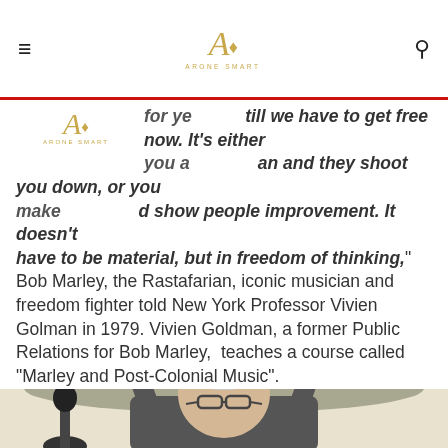Arone Smart (logo) navigation bar with hamburger menu and search icon
for ye till we have to get free now. It's either you a an and they shoot you down, or you make d show people improvement. It doesn't have to be material, but in freedom of thinking," Bob Marley, the Rastafarian, iconic musician and freedom fighter told New York Professor Vivien Golman in 1979. Vivien Goldman, a former Public Relations for Bob Marley, teaches a course called "Marley and Post-Colonial Music".
READ MORE ...
[Figure (photo): Person holding two Oscar/trophy statuettes above their head, visible from torso up, wearing glasses, with white/gray hair]